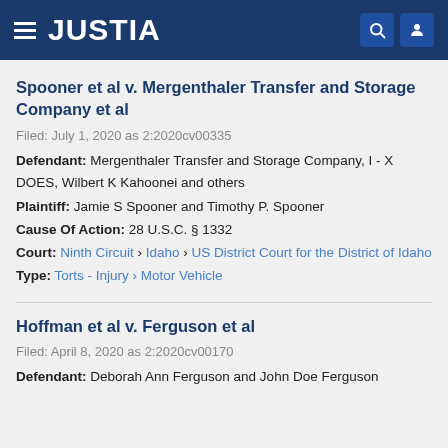JUSTIA
Spooner et al v. Mergenthaler Transfer and Storage Company et al
Filed: July 1, 2020 as 2:2020cv00335
Defendant: Mergenthaler Transfer and Storage Company, I - X DOES, Wilbert K Kahoonei and others
Plaintiff: Jamie S Spooner and Timothy P. Spooner
Cause Of Action: 28 U.S.C. § 1332
Court: Ninth Circuit › Idaho › US District Court for the District of Idaho
Type: Torts - Injury › Motor Vehicle
Hoffman et al v. Ferguson et al
Filed: April 8, 2020 as 2:2020cv00170
Defendant: Deborah Ann Ferguson and John Doe Ferguson